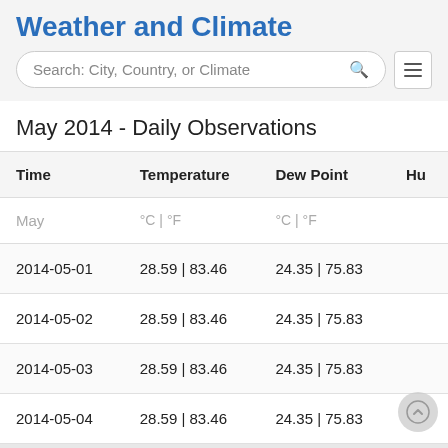Weather and Climate
Search: City, Country, or Climate
May 2014 - Daily Observations
| Time | Temperature | Dew Point | Hu… |
| --- | --- | --- | --- |
| May | °C | °F | °C | °F |  |
| 2014-05-01 | 28.59 | 83.46 | 24.35 | 75.83 |  |
| 2014-05-02 | 28.59 | 83.46 | 24.35 | 75.83 |  |
| 2014-05-03 | 28.59 | 83.46 | 24.35 | 75.83 |  |
| 2014-05-04 | 28.59 | 83.46 | 24.35 | 75.83 |  |